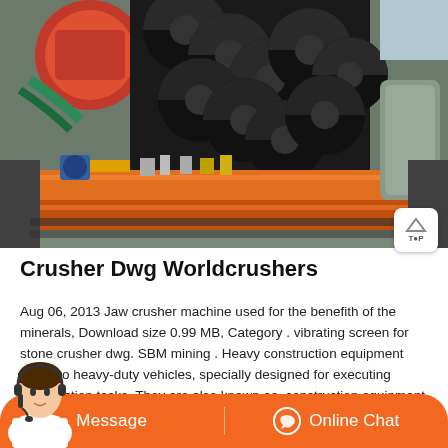[Figure (photo): Industrial mining/crushing equipment with large spiral screw conveyor components, orange and black machinery photographed from above at a mining or construction facility.]
Crusher Dwg Worldcrushers
Aug 06, 2013 Jaw crusher machine used for the benefith of the minerals, Download size 0.99 MB, Category . vibrating screen for stone crusher dwg. SBM mining . Heavy construction equipment refers to heavy-duty vehicles, specially designed for executing construction tasks. They are also known as, construction equipment .